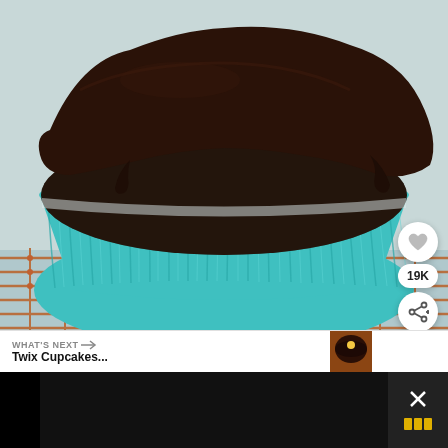[Figure (photo): Close-up photo of a chocolate cupcake in a teal/turquoise paper liner sitting on a copper wire cooling rack. The cupcake has dark chocolate frosting on top. The background is light/white.]
[Figure (photo): UI overlay: heart/like button (white circle), 19K count badge, and share button (white circle with share icon) on the right side of the main photo]
19K
[Figure (photo): What's Next bar showing a small thumbnail of a chocolate Twix cupcake with text 'WHAT'S NEXT → Twix Cupcakes...']
[Figure (photo): Secondary photo below the main image showing two people in what appears to be a kitchen or indoor setting with a plant visible, partially cropped]
[Figure (photo): Advertisement banner at the bottom with black bars on sides and a close/X button on the right]